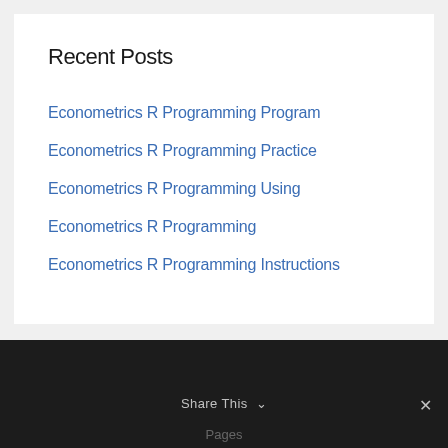Recent Posts
Econometrics R Programming Program
Econometrics R Programming Practice
Econometrics R Programming Using
Econometrics R Programming
Econometrics R Programming Instructions
Share This ∨  Pages  ✕